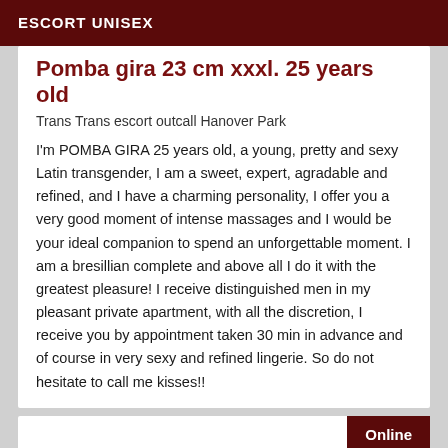ESCORT UNISEX
Pomba gira 23 cm xxxl. 25 years old
Trans Trans escort outcall Hanover Park
I'm POMBA GIRA 25 years old, a young, pretty and sexy Latin transgender, I am a sweet, expert, agradable and refined, and I have a charming personality, I offer you a very good moment of intense massages and I would be your ideal companion to spend an unforgettable moment. I am a bresillian complete and above all I do it with the greatest pleasure! I receive distinguished men in my pleasant private apartment, with all the discretion, I receive you by appointment taken 30 min in advance and of course in very sexy and refined lingerie. So do not hesitate to call me kisses!!
Online